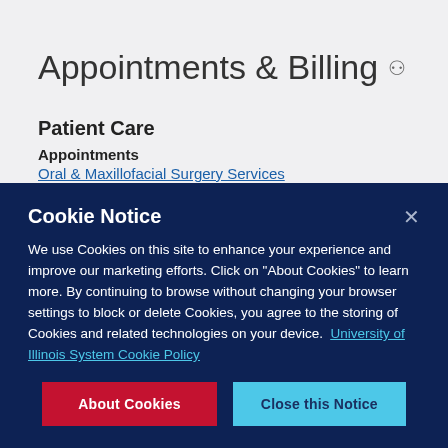Appointments & Billing 🔗
Patient Care
Appointments
Oral & Maxillofacial Surgery Services
(312) 996-7460 or (312) 996-7461
Cookie Notice
We use Cookies on this site to enhance your experience and improve our marketing efforts. Click on "About Cookies" to learn more. By continuing to browse without changing your browser settings to block or delete Cookies, you agree to the storing of Cookies and related technologies on your device.  University of Illinois System Cookie Policy
About Cookies | Close this Notice